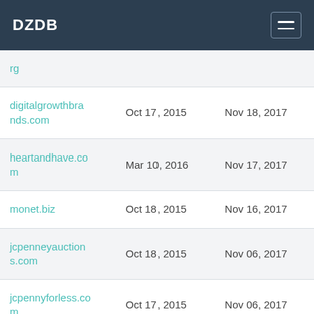DZDB
| Domain | Created | Dropped |
| --- | --- | --- |
| rg |  |  |
| digitalgrowthbrands.com | Oct 17, 2015 | Nov 18, 2017 |
| heartandhave.com | Mar 10, 2016 | Nov 17, 2017 |
| monet.biz | Oct 18, 2015 | Nov 16, 2017 |
| jcpenneyauctions.com | Oct 18, 2015 | Nov 06, 2017 |
| jcpennyforless.com | Oct 17, 2015 | Nov 06, 2017 |
| jcpenneyauction | Oct 17, 2015 | Nov 06, 2017 |